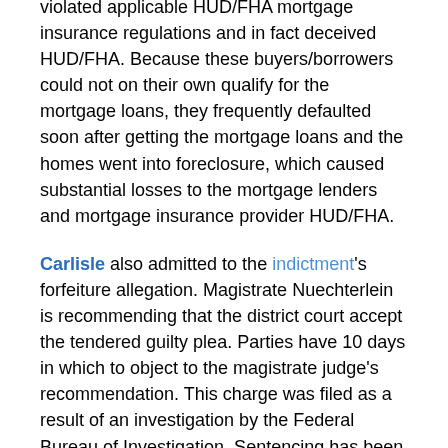violated applicable HUD/FHA mortgage insurance regulations and in fact deceived HUD/FHA. Because these buyers/borrowers could not on their own qualify for the mortgage loans, they frequently defaulted soon after getting the mortgage loans and the homes went into foreclosure, which caused substantial losses to the mortgage lenders and mortgage insurance provider HUD/FHA.
Carlisle also admitted to the indictment's forfeiture allegation. Magistrate Nuechterlein is recommending that the district court accept the tendered guilty plea. Parties have 10 days in which to object to the magistrate judge's recommendation. This charge was filed as a result of an investigation by the Federal Bureau of Investigation. Sentencing has been set for 12/6/2013 before Judge Jon E. DeGuilio. This case is being prosecuted by Assistant United States Attorney Donald Schmid.